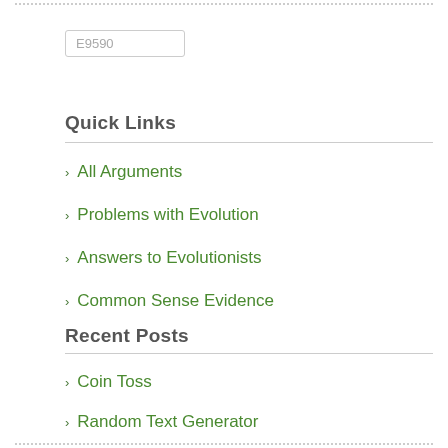E9590
Quick Links
All Arguments
Problems with Evolution
Answers to Evolutionists
Common Sense Evidence
Recent Posts
Coin Toss
Random Text Generator